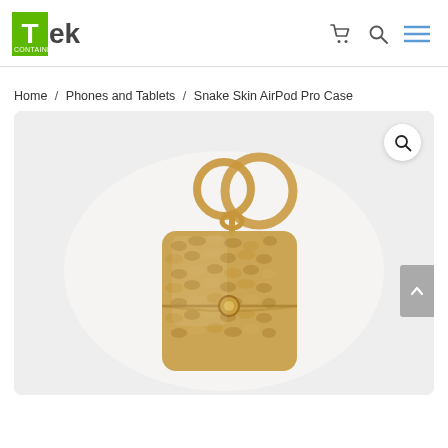Tek Container — navigation header with cart, search, and menu icons
Home / Phones and Tablets / Snake Skin AirPod Pro Case
[Figure (photo): Snake Skin AirPod Pro Case product photo: a gold snake-skin textured leather AirPod Pro case with gold metal snap button and two gold ring key chain rings, on a light gray background.]